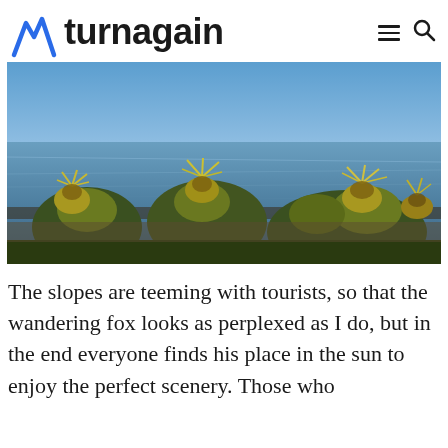turnagain
[Figure (photo): Photo of spiky yellow-green thistle-like wildflowers in the foreground with a rippling blue lake or water body in the background under bright sunlight.]
The slopes are teeming with tourists, so that the wandering fox looks as perplexed as I do, but in the end everyone finds his place in the sun to enjoy the perfect scenery. Those who